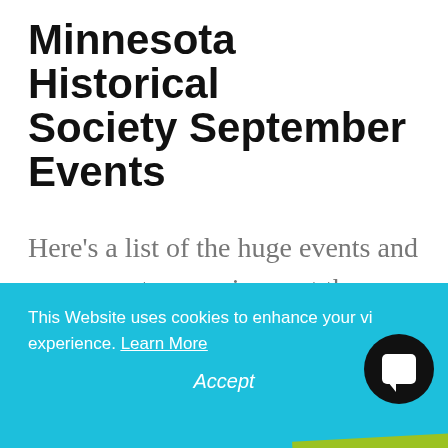Minnesota Historical Society September Events
[Figure (infographic): Green rotated banner with envelope icon and text STAY UP TO DATE]
Here's a list of the huge events and programs to experience at the Minnesota History Center.
This Website uses cookies to enhance your visitor experience. Learn More
Accept